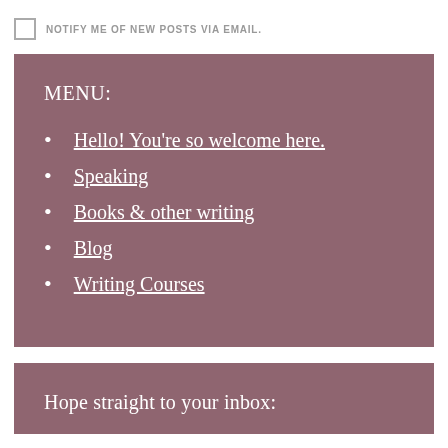NOTIFY ME OF NEW POSTS VIA EMAIL.
MENU:
Hello! You're so welcome here.
Speaking
Books & other writing
Blog
Writing Courses
Hope straight to your inbox: